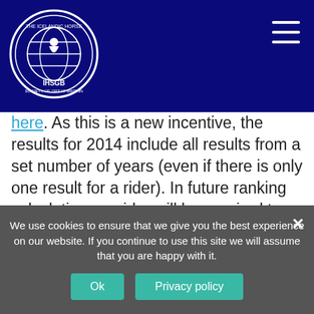[Figure (logo): IHSGB circular logo with globe and rider silhouette, white on dark blue background]
here. As this is a new incentive, the results for 2014 include all results from a set number of years (even if there is only one result for a rider). In future ranking calculations, a rider will be required to have at least two results in the class to be included in the official ranking.
Please note: If you DO NOT wish to be included in the GB ranking lists, please let us know ASAP on sport@ihsgb.co.uk or communications@ihsgb.co.uk and we will immediately remove you.
We use cookies to ensure that we give you the best experience on our website. If you continue to use this site we will assume that you are happy with it.